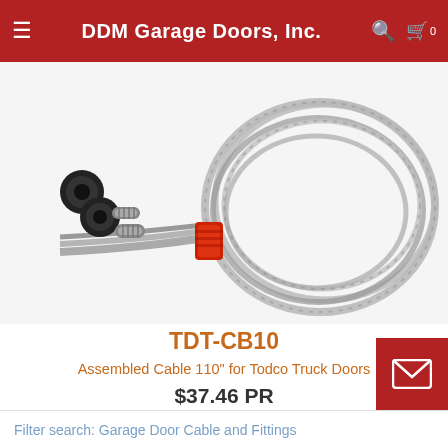DDM Garage Doors, Inc.
[Figure (photo): Assembled cable coil with black end fittings and red wrapping, steel braided cable for Todco truck doors]
TDT-CB10
Assembled Cable 110" for Todco Truck Doors
$37.46 PR
Buy
[Figure (photo): Partial view of another assembled cable product below]
Filter search: Garage Door Cable and Fittings